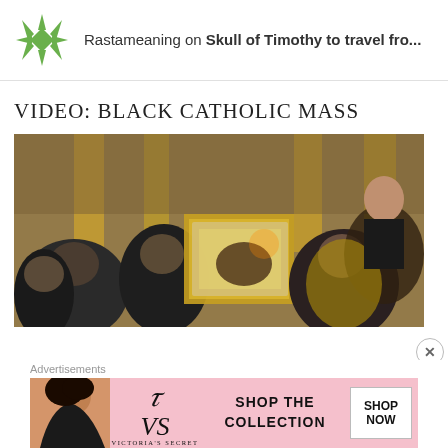Rastameaning on Skull of Timothy to travel fro...
VIDEO: BLACK CATHOLIC MASS
[Figure (photo): Clergy carrying a reliquary or glass case in a church interior with golden decorations, several men in black and liturgical vestments]
Advertisements
[Figure (other): Victoria's Secret advertisement banner: SHOP THE COLLECTION / SHOP NOW button]